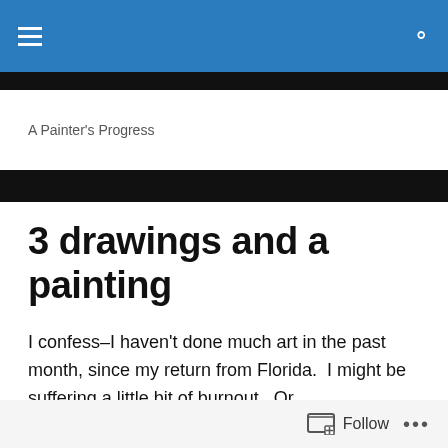A Painter's Progress
3 drawings and a painting
I confess–I haven't done much art in the past month, since my return from Florida.  I might be suffering a little bit of burnout.  Or discouragement:  I received yet another rejection from the Oil Painters of America.  Will I ever paint a picture good enough to win OPA's seal of approval?  If I live long enough, and then only maybe.  Perhaps I should
Follow